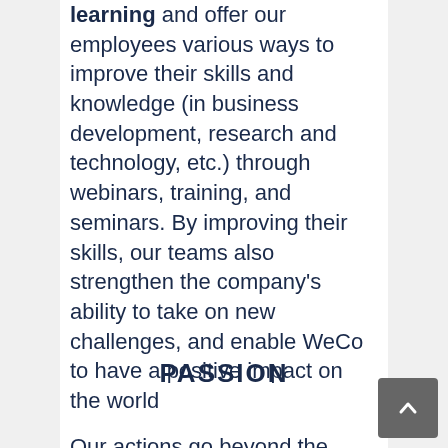learning and offer our employees various ways to improve their skills and knowledge (in business development, research and technology, etc.) through webinars, training, and seminars. By improving their skills, our teams also strengthen the company's ability to take on new challenges, and enable WeCo to have a positive impact on the world
PASSION
Our actions go beyond the